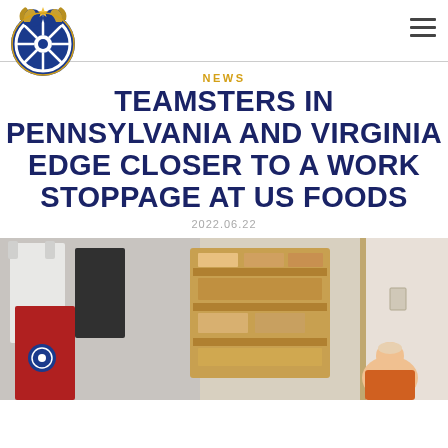Teamsters logo and navigation
NEWS
TEAMSTERS IN PENNSYLVANIA AND VIRGINIA EDGE CLOSER TO A WORK STOPPAGE AT US FOODS
2022.06.22
[Figure (photo): Photo of people inside a room with t-shirts hanging and shelving with folded clothing, with a person visible in the lower right]